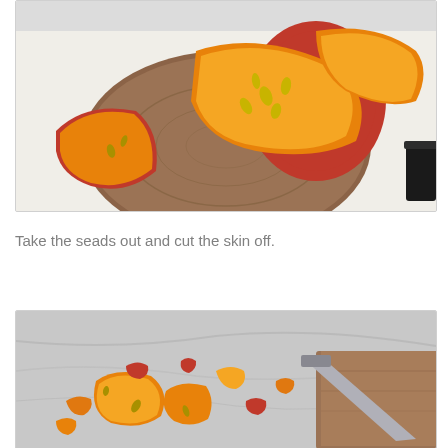[Figure (photo): Photo of a pumpkin cut into sections showing bright orange flesh and seeds, placed on a round wooden cutting board on a white surface, with a knife partially visible at the right edge.]
Take the seads out and cut the skin off.
[Figure (photo): Photo of chopped pumpkin pieces with skin removed scattered on a marble/grey surface with a wooden cutting board and knife visible, showing orange flesh and red skin pieces.]